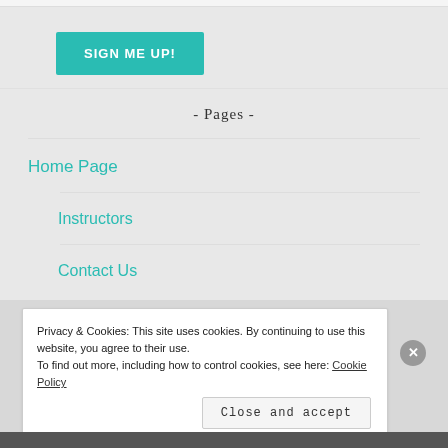[Figure (other): SIGN ME UP! button in teal/turquoise color]
- Pages -
Home Page
Instructors
Contact Us
Privacy & Cookies: This site uses cookies. By continuing to use this website, you agree to their use.
To find out more, including how to control cookies, see here: Cookie Policy
Close and accept